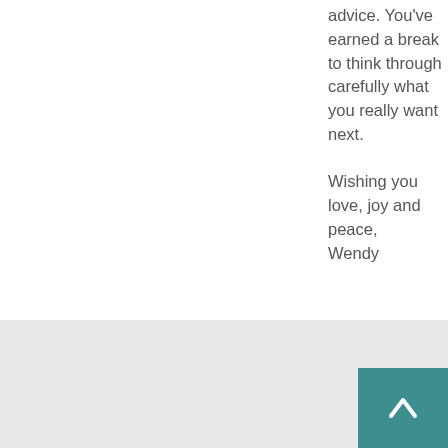advice. You've earned a break to think through carefully what you really want next.

Wishing you love, joy and peace,
Wendy
Reply
Maria says:
April 20, 2012 at 7:04 pm
I have just read ur blog and omg it is soo spot on that when the pain is too much you will have the courage to leave as that happened to me 13 years ago after been married